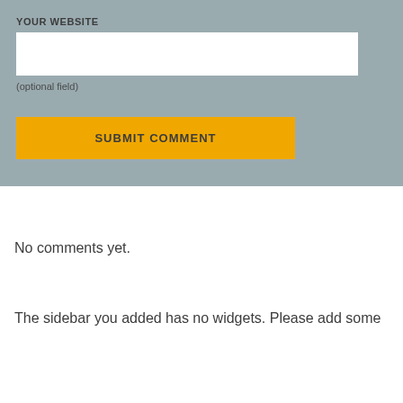YOUR WEBSITE
[Figure (screenshot): White text input box for website URL entry]
(optional field)
SUBMIT COMMENT
No comments yet.
The sidebar you added has no widgets. Please add some